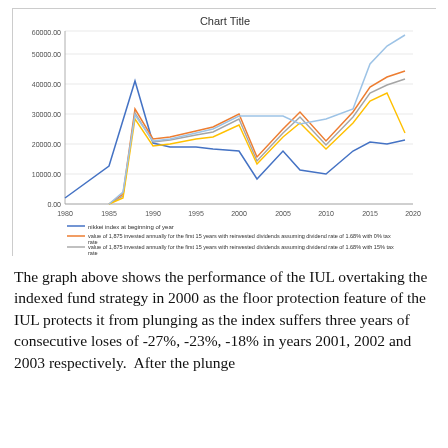[Figure (line-chart): Multi-series line chart showing Nikkei index and investment strategy values from 1980 to 2020, with y-axis from 0 to 60000.]
The graph above shows the performance of the IUL overtaking the indexed fund strategy in 2000 as the floor protection feature of the IUL protects it from plunging as the index suffers three years of consecutive loses of -27%, -23%, -18% in years 2001, 2002 and 2003 respectively.  After the plunge